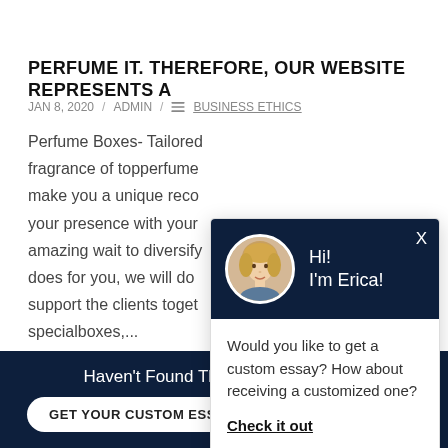PERFUME IT. THEREFORE, OUR WEBSITE REPRESENTS A
JAN 8, 2020  /  ADMIN  /  BUSINESS ETHICS
Perfume Boxes- Tailored fragrance of topperfume make you a unique reco your presence with your amazing wait to diversify does for you, we will do support the clients toget specialboxes,...
[Figure (screenshot): Chat popup with avatar of a woman named Erica saying Hi! I'm Erica! with message: Would you like to get a custom essay? How about receiving a customized one? Check it out]
Haven't Found The Essay You Want?
GET YOUR CUSTOM ESSAY
For Only $13.90/page